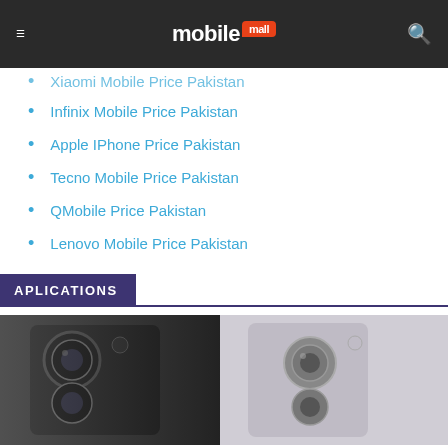mobile mall
Xiaomi Mobile Price Pakistan
Infinix Mobile Price Pakistan
Apple IPhone Price Pakistan
Tecno Mobile Price Pakistan
QMobile Price Pakistan
Lenovo Mobile Price Pakistan
APLICATIONS
[Figure (photo): Two smartphones shown side by side, one dark-colored on the left showing camera module, one light/white-colored on the right also showing camera module]